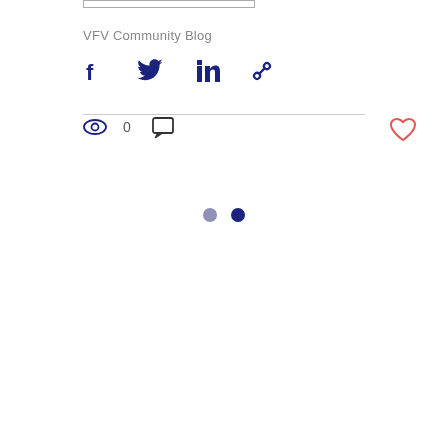[Figure (other): Top bar/rectangle outline element]
VFV Community Blog
[Figure (other): Social share icons: Facebook, Twitter, LinkedIn, Link]
[Figure (other): Horizontal divider line]
[Figure (other): View count icon (eye) with 0, comment icon, and heart/like button]
[Figure (other): Two pagination dots (grey and dark blue)]